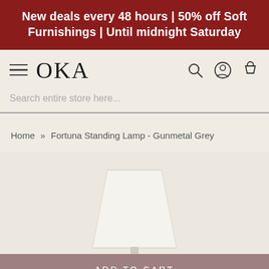New deals every 48 hours | 50% off Soft Furnishings | Until midnight Saturday
[Figure (screenshot): OKA website navigation bar with hamburger menu, OKA logo, search icon, account icon, and cart icon]
Search entire store here...
Home » Fortuna Standing Lamp - Gunmetal Grey
[Figure (photo): Partial product image of Fortuna Standing Lamp lampshade (white, tapered) on a cream/beige background]
ADD TO CART